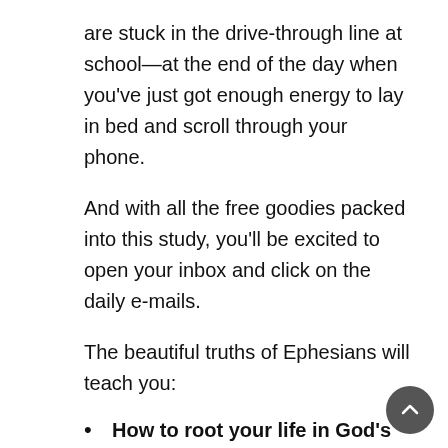are stuck in the drive-through line at school—at the end of the day when you've just got enough energy to lay in bed and scroll through your phone.
And with all the free goodies packed into this study, you'll be excited to open your inbox and click on the daily e-mails.
The beautiful truths of Ephesians will teach you:
How to root your life in God's Word.
How to access your spiritual wealth.
How God's work empowers your walk.
What it means to be alive in Christ.